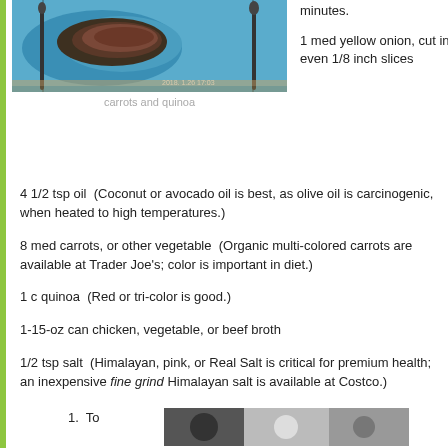[Figure (photo): Photo of food (carrots and quinoa) on a blue plate, dated 2018.1.26 17:03]
carrots and quinoa
minutes.
1 med yellow onion, cut in even 1/8 inch slices
4 1/2 tsp oil  (Coconut or avocado oil is best, as olive oil is carcinogenic, when heated to high temperatures.)
8 med carrots, or other vegetable  (Organic multi-colored carrots are available at Trader Joe's; color is important in diet.)
1 c quinoa  (Red or tri-color is good.)
1-15-oz can chicken, vegetable, or beef broth
1/2 tsp salt  (Himalayan, pink, or Real Salt is critical for premium health; an inexpensive fine grind Himalayan salt is available at Costco.)
1. To
[Figure (photo): Photo at bottom of page showing food preparation]